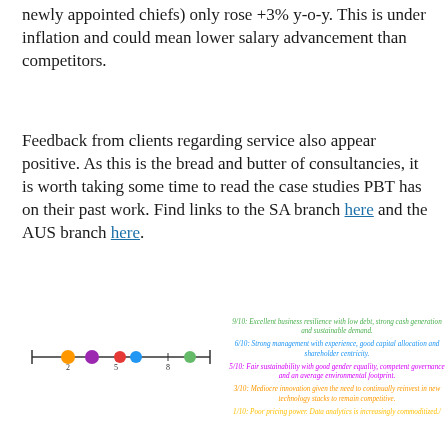newly appointed chiefs) only rose +3% y-o-y. This is under inflation and could mean lower salary advancement than competitors.
Feedback from clients regarding service also appear positive. As this is the bread and butter of consultancies, it is worth taking some time to read the case studies PBT has on their past work. Find links to the SA branch here and the AUS branch here.
[Figure (other): A number line chart with coloured dots at positions 2, 3, 5, 8 and near 9, with a legend on the right describing scores: 9/10 Excellent business resilience, 6/10 Strong management, 5/10 Fair sustainability, 3/10 Mediocre innovation, 1/10 Poor pricing power.]